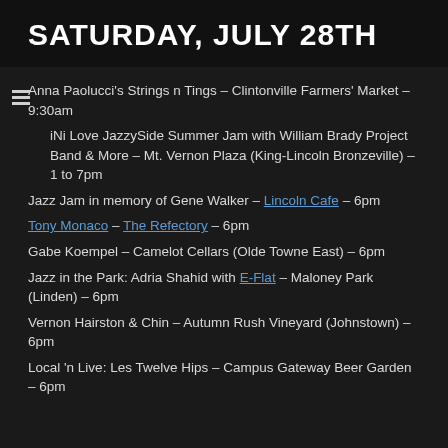SATURDAY, JULY 28TH
Anna Paolucci's Strings n Tings – Clintonville Farmers' Market – 9:30am
iNi Love JazzySide Summer Jam with William Brady Project Band & More – Mt. Vernon Plaza (King-Lincoln Bronzeville) – 1 to 7pm
Jazz Jam in memory of Gene Walker – Lincoln Cafe – 6pm
Tony Monaco – The Refectory – 6pm
Gabe Koempel – Camelot Cellars (Olde Towne East) – 6pm
Jazz in the Park: Adria Shahid with E-Flat – Maloney Park (Linden) – 6pm
Vernon Hairston & Chin – Autumn Rush Vineyard (Johnstown) – 6pm
Local 'n Live: Les Twelve Hips – Campus Gateway Beer Garden – 6pm